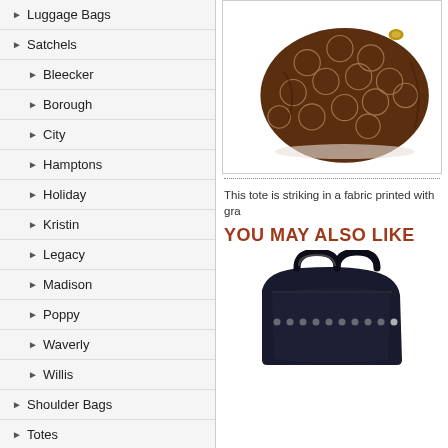▶ Luggage Bags
▶ Satchels
▶ Bleecker
▶ Borough
▶ City
▶ Hamptons
▶ Holiday
▶ Kristin
▶ Legacy
▶ Madison
▶ Poppy
▶ Waverly
▶ Willis
▶ Shoulder Bags
▶ Totes
[Figure (photo): Brown fabric tote bag with circular monogram print pattern]
This tote is striking in a fabric printed with gra
YOU MAY ALSO LIKE
[Figure (photo): Dark colored handbag with studded details and dual handles]